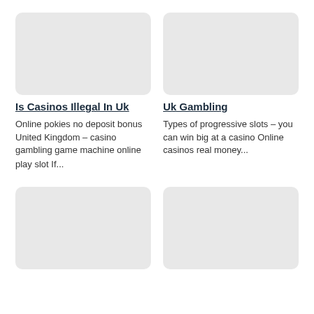[Figure (other): Gray placeholder image box, top-left card]
[Figure (other): Gray placeholder image box, top-right card]
Is Casinos Illegal In Uk
Uk Gambling
Online pokies no deposit bonus United Kingdom – casino gambling game machine online play slot If...
Types of progressive slots – you can win big at a casino Online casinos real money...
[Figure (other): Gray placeholder image box, bottom-left card]
[Figure (other): Gray placeholder image box, bottom-right card]